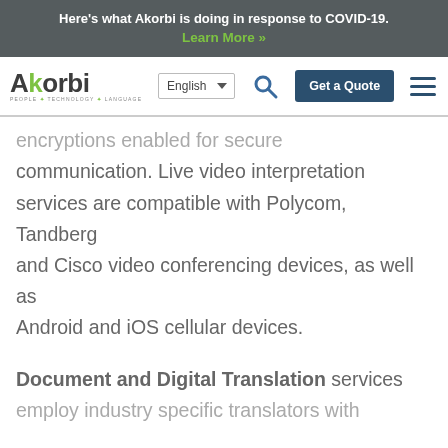Here's what Akorbi is doing in response to COVID-19. Learn More »
[Figure (logo): Akorbi logo with tagline PEOPLE TECHNOLOGY LANGUAGE]
English (language selector), search icon, Get a Quote button, hamburger menu
encryptions enabled for secure communication. Live video interpretation services are compatible with Polycom, Tandberg and Cisco video conferencing devices, as well as Android and iOS cellular devices.
Document and Digital Translation services employ industry specific translators with